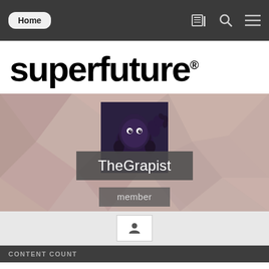Home
superfuture®
[Figure (screenshot): User profile page for 'TheGrapist' on superfuture website. Shows a purple furry cartoon character avatar, username TheGrapist, and member status label on a geometric pink/mauve polygon background.]
TheGrapist
member
CONTENT COUNT